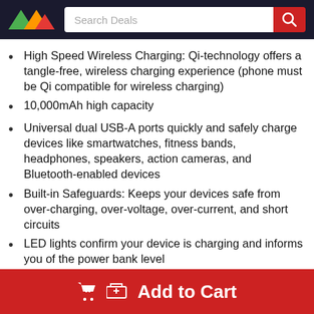Search Deals
High Speed Wireless Charging: Qi-technology offers a tangle-free, wireless charging experience (phone must be Qi compatible for wireless charging)
10,000mAh high capacity
Universal dual USB-A ports quickly and safely charge devices like smartwatches, fitness bands, headphones, speakers, action cameras, and Bluetooth-enabled devices
Built-in Safeguards: Keeps your devices safe from over-charging, over-voltage, over-current, and short circuits
LED lights confirm your device is charging and informs you of the power bank level
2.1 Amp output
Dual USB-A ports: Charge 3 devices simultaneously using 2 USB-A ports with SmartCharge technology